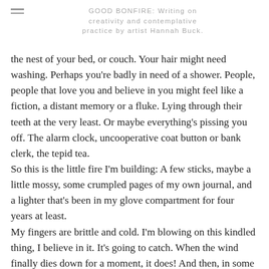GOOD BONFIRE: Writing on creativity and contemplative practice by artist Hannah Buck.
the nest of your bed, or couch. Your hair might need washing. Perhaps you're badly in need of a shower. People, people that love you and believe in you might feel like a fiction, a distant memory or a fluke. Lying through their teeth at the very least. Or maybe everything's pissing you off. The alarm clock, uncooperative coat button or bank clerk, the tepid tea. So this is the little fire I'm building: A few sticks, maybe a little mossy, some crumpled pages of my own journal, and a lighter that's been in my glove compartment for four years at least. My fingers are brittle and cold. I'm blowing on this kindled thing, I believe in it. It's going to catch. When the wind finally dies down for a moment, it does! And then, in some minutes, is the plume of smoke that rises. It rises from this spot, on the side of an unfriendly road where the views aren't inspired. This is the spot where I stopped, would not go another mile. It will have to do. The plume is going up, visible from over the ridge in a thin, messy, scraggly line rising straight up. This plume is just for